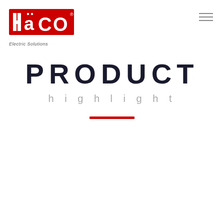[Figure (logo): HaCO Electric Solutions logo — red block letters with registered trademark symbol and tagline 'Electric Solutions' in italic gray below]
PRODUCT highlight
[Figure (other): Red horizontal decorative line separator]